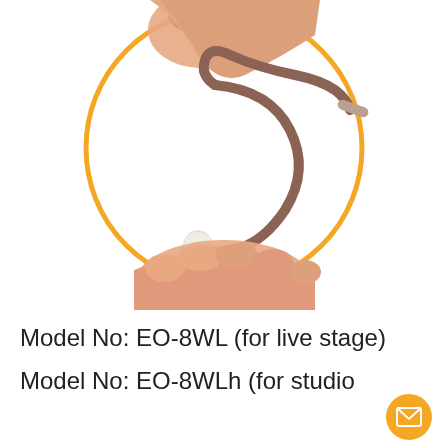[Figure (photo): Close-up photo of a hand holding a small brown/beige ear hook or earhook microphone accessory with a white tip, shown within an orange circle border on white background. The item is a thin curved wire with a small cylindrical connector at one end and a rounded white tip at the other end.]
Model No: EO-8WL (for live stage)
Model No: EO-8WLh (for studio